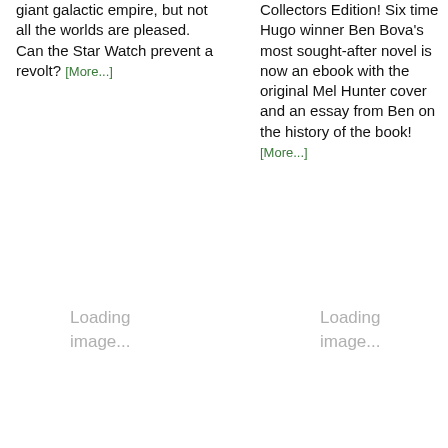giant galactic empire, but not all the worlds are pleased. Can the Star Watch prevent a revolt? [More...]
Collectors Edition! Six time Hugo winner Ben Bova's most sought-after novel is now an ebook with the original Mel Hunter cover and an essay from Ben on the history of the book! [More...]
[Figure (other): Loading image placeholder, left column]
[Figure (other): Loading image placeholder, right column]